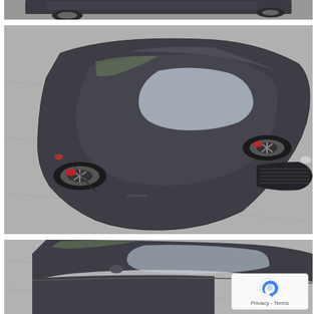[Figure (photo): Top portion of a dark gray Maserati GranTurismo sports car photographed from above, showing the rear section on a gray pavement surface.]
[Figure (photo): Aerial/overhead view of a dark gray Maserati GranTurismo sports car photographed from above-rear angle, showing the full car on gray pavement. The car has a sleek coupe body, large alloy wheels, red brake calipers, and the Maserati trident grille visible at the front.]
[Figure (photo): Bottom portion of the same dark gray Maserati GranTurismo sports car from a similar overhead angle, showing the front/roof section. A reCAPTCHA privacy badge is overlaid in the bottom-right corner.]